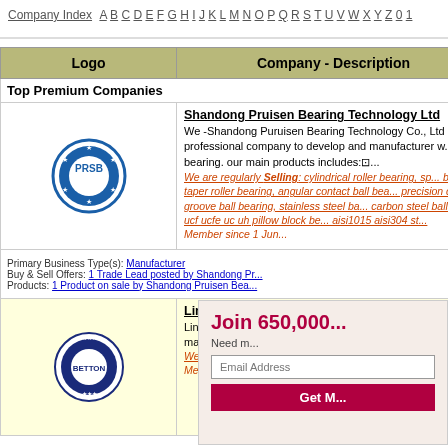Company Index A B C D E F G H I J K L M N O P Q R S T U V W X Y Z 0 1
| Logo | Company - Description |
| --- | --- |
| Top Premium Companies |  |
| [PRSB logo] | Shandong Pruisen Bearing Technology Ltd
We -Shandong Puruisen Bearing Technology Co., Ltd professional company to develop and manufacturer w... bearing. our main products includes:⊡...
We are regularly Selling: cylindrical roller bearing, sp... bearing, taper roller bearing, angular contact ball bea... precision deep groove ball bearing, stainless steel ba... carbon steel balls, ucn ucf ucfe uc uh pillow block be... aisi1015 aisi304 st...
Member since 1 Jun... |
|  | Primary Business Type(s): Manufacturer
Buy & Sell Offers: 1 Trade Lead posted by Shandong Pr...
Products: 1 Product on sale by Shandong Pruisen Bea... |
| [Betton logo] | Linqing Betton Be...
Linqing Betton Bea... production and tra... largest bearing ma... and distribution. Si...
We are regularly S... bearings, ball bear... cylindrical roller be...
Member since 8 Ma... |
Join 650,000...
Need m...
Email Address
Get M...